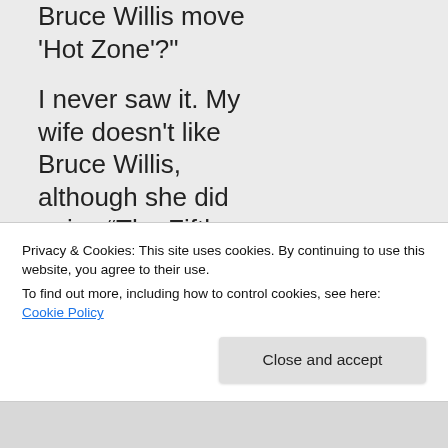Bruce Willis move 'Hot Zone'?"

I never saw it. My wife doesn't like Bruce Willis, although she did enjoy “The Fifth Element.”

“… a two for one kind of thing.”
Privacy & Cookies: This site uses cookies. By continuing to use this website, you agree to their use.
To find out more, including how to control cookies, see here: Cookie Policy